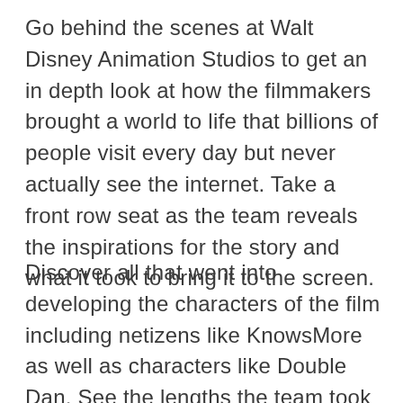Go behind the scenes at Walt Disney Animation Studios to get an in depth look at how the filmmakers brought a world to life that billions of people visit every day but never actually see the internet. Take a front row seat as the team reveals the inspirations for the story and what it took to bring it to the screen.
Discover all that went into developing the characters of the film including netizens like KnowsMore as well as characters like Double Dan. See the lengths the team took to create the car chase scenes in Slaughter Race